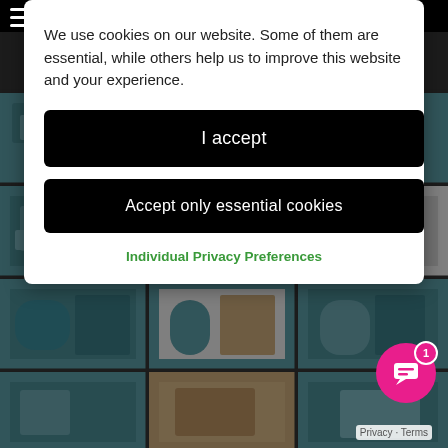[Figure (photo): Grid of dental office/clinic room photographs showing treatment chairs, teal/turquoise colored walls, dental equipment, and examination rooms]
We use cookies on our website. Some of them are essential, while others help us to improve this website and your experience.
I accept
Accept only essential cookies
Individual Privacy Preferences